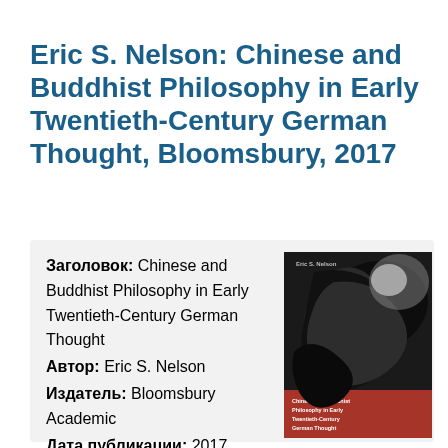Eric S. Nelson: Chinese and Buddhist Philosophy in Early Twentieth-Century German Thought, Bloomsbury, 2017
Заголовок: Chinese and Buddhist Philosophy in Early Twentieth-Century German Thought
Автор: Eric S. Nelson
Издатель: Bloomsbury Academic
Дата публикации: 2017
[Figure (photo): Book cover of 'Chinese and Buddhist Philosophy in Early Twentieth-Century German Thought' by Eric S. Nelson, Bloomsbury. Black and white cover with abstract brush stroke imagery. Red text at bottom shows the book title.]